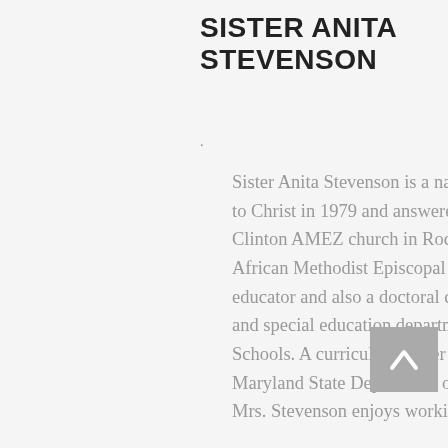SISTER ANITA STEVENSON
Sister Anita Stevenson is a native of Montego Bay, Jamaica.  She gave her life to Christ in 1979 and answered the call to ministry in 2011.  She is a member of Clinton AMEZ church in Rockville Maryland and a Christian Educator in the African Methodist Episcopal Zion Church.  A highly qualified public school educator and also a doctoral candidate.  She is a teacher leader/mentor teacher and special education department chairperson in Prince George's County Public Schools. A curriculum writer for students with severe cognitive disabilities with Maryland State Department of Education.  As an honored, yet humbled servant, Mrs. Stevenson enjoys working